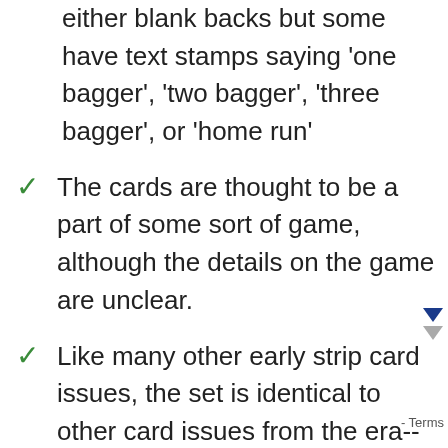either blank backs but some have text stamps saying 'one bagger', 'two bagger', 'three bagger', or 'home run'
The cards are thought to be a part of some sort of game, although the details on the game are unclear.
Like many other early strip card issues, the set is identical to other card issues from the era--the F50 and E210 York Caramel sets.
Of the 60 cards, a lot of star power, including Babe Ruth, Ty Cobb, Rogers